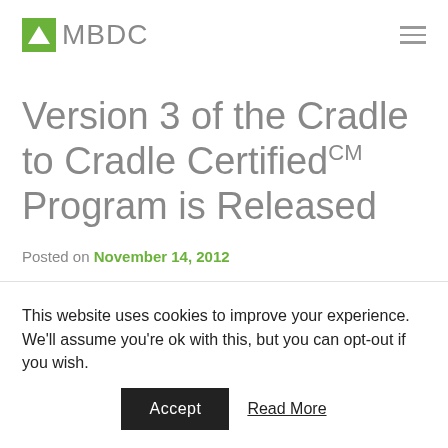MBDC
Version 3 of the Cradle to Cradle CertifiedCM Program is Released
Posted on November 14, 2012
This website uses cookies to improve your experience. We'll assume you're ok with this, but you can opt-out if you wish.